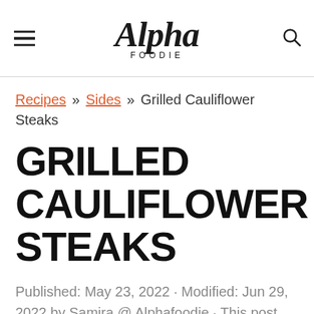Alpha Foodie
Recipes » Sides » Grilled Cauliflower Steaks
GRILLED CAULIFLOWER STEAKS
Published: May 23, 2022 · Modified: Jun 29, 2022 by Samira @ Alphafoodie · This post may contain affiliate links